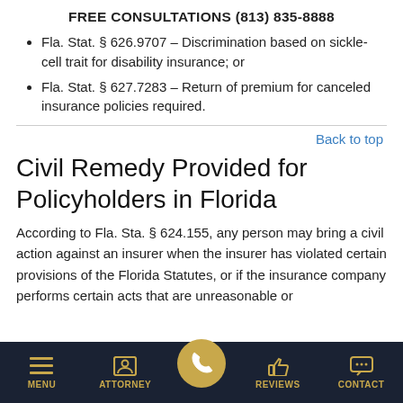FREE CONSULTATIONS (813) 835-8888
Fla. Stat. § 626.9707 – Discrimination based on sickle-cell trait for disability insurance; or
Fla. Stat. § 627.7283 – Return of premium for canceled insurance policies required.
Back to top
Civil Remedy Provided for Policyholders in Florida
According to Fla. Sta. § 624.155, any person may bring a civil action against an insurer when the insurer has violated certain provisions of the Florida Statutes, or if the insurance company performs certain acts that are unreasonable or
MENU  ATTORNEY  REVIEWS  CONTACT